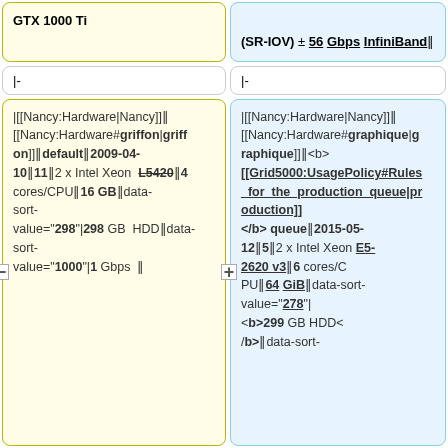GTX 1000 Ti
nbsp;
(SR‑IOV) ± 56 Gbps InfiniBand‖
|-
|-
|[[Nancy:Hardware|Nancy]]‖[[Nancy:Hardware#griffon|griffon]]‖default‖2009-04-10‖11‖2 x Intel Xeon L5420‖4 cores/CPU‖16 GB‖data-sort-value="298"|298 GB HDD‖data-sort-value="1000"|1 Gbps ‖
|[[Nancy:Hardware|Nancy]]‖[[Nancy:Hardware#graphique|graphique]]‖<b>[[Grid5000:UsagePolicy#Rules_for_the_production_queue|production]]</b> queue‖2015-05-12‖5‖2 x Intel Xeon E5-2620 v3‖6 cores/CPU‖64 GiB‖data-sort-value="278"|<b>299 GB HDD</b>‖data-sort-